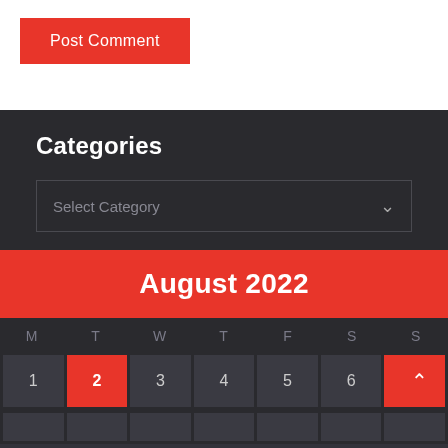Post Comment
Categories
Select Category
[Figure (other): Calendar widget showing August 2022 with days M T W T F S S, date 2 highlighted in red, dates 1-6 and partial 7 visible in first row]
August 2022